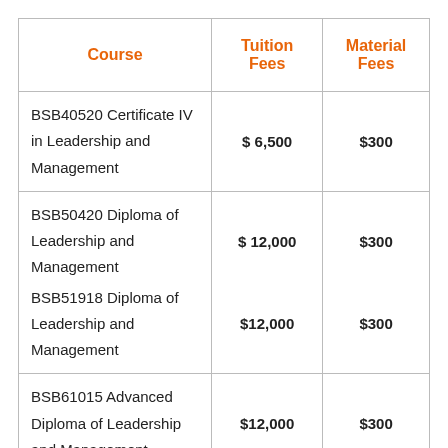| Course | Tuition Fees | Material Fees |
| --- | --- | --- |
| BSB40520 Certificate IV in Leadership and Management | $ 6,500 | $300 |
| BSB50420 Diploma of Leadership and Management | $ 12,000 | $300 |
| BSB51918 Diploma of Leadership and Management | $12,000 | $300 |
| BSB61015 Advanced Diploma of Leadership and Management | $12,000 | $300 |